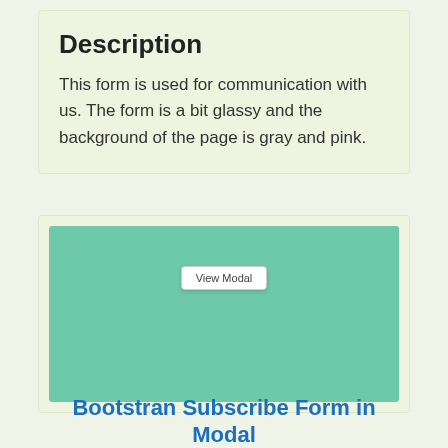Description
This form is used for communication with us. The form is a bit glassy and the background of the page is gray and pink.
[Figure (screenshot): A teal/green colored preview area showing a 'View Modal' button in the center-top area]
Bootstran Subscribe Form in Modal